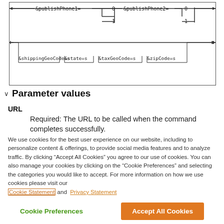[Figure (engineering-diagram): Syntax/railroad diagram showing URL parameters: &publishPhone1= with options 0/1, &publishPhone2= with options 0/1, &shippingGeoCode=s, &state=s, &taxGeoCode=s, &zipCode=s]
Parameter values
URL
Required: The URL to be called when the command completes successfully.
We use cookies for the best user experience on our website, including to personalize content & offerings, to provide social media features and to analyze traffic. By clicking “Accept All Cookies” you agree to our use of cookies. You can also manage your cookies by clicking on the “Cookie Preferences” and selecting the categories you would like to accept. For more information on how we use cookies please visit our Cookie Statement and Privacy Statement
Cookie Preferences
Accept All Cookies